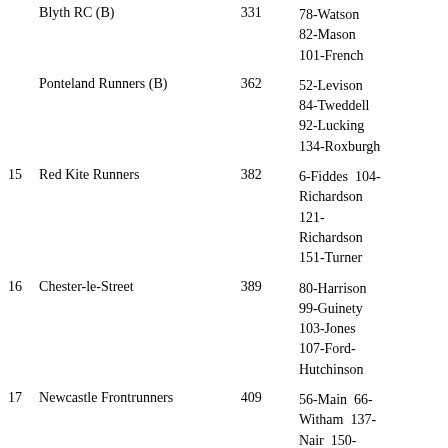| Pos | Club | Score | Runners |
| --- | --- | --- | --- |
|  | Blyth RC (B) | 331 | 78-Watson
82-Mason
101-French |
|  | Ponteland Runners (B) | 362 | 52-Levison
84-Tweddell
92-Lucking
134-Roxburgh |
| 15 | Red Kite Runners | 382 | 6-Fiddes 104-Richardson
121-Richardson
151-Turner |
| 16 | Chester-le-Street | 389 | 80-Harrison
99-Guinety
103-Jones
107-Ford-Hutchinson |
| 17 | Newcastle Frontrunners | 409 | 56-Main 66-Witham 137-Nair 150-Williams |
|  | Blackhill Bounders (B) | 430 | 91-Edmunds
94-Clough
120-Dixon |